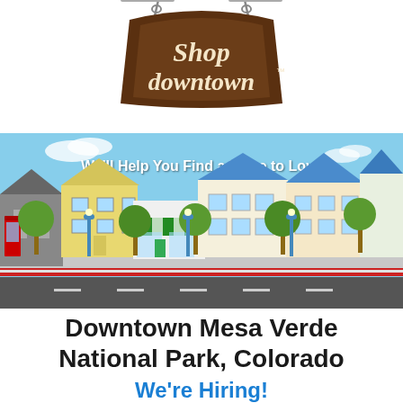[Figure (logo): Shop Downtown logo — a brown arch-shaped sign hanging from a chain with 'Shop downtown' in cream/white lettering]
[Figure (illustration): Illustrated cartoon downtown street scene with colorful buildings, trees, street lamps, a red phone booth, and a sidewalk with red curb. White text reads 'We'll Help You Find a Place to Love']
Downtown Mesa Verde National Park, Colorado
We're Hiring!